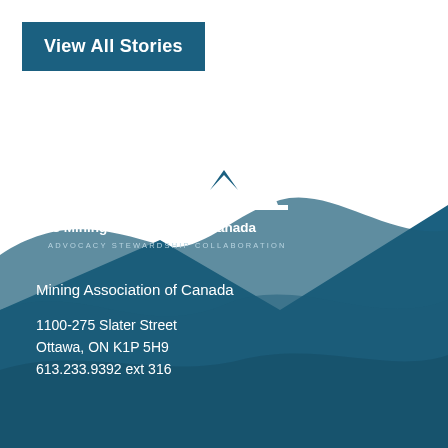[Figure (logo): The Mining Association of Canada logo with mountain/diamond symbol and tagline ADVOCACY STEWARDSHIP COLLABORATION on dark blue background with wave shapes]
View All Stories
Mining Association of Canada
1100-275 Slater Street
Ottawa, ON K1P 5H9
613.233.9392 ext 316